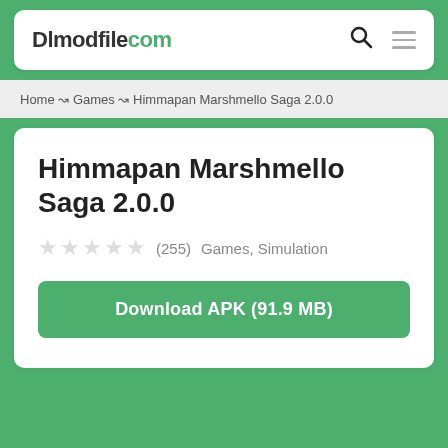Dlmodfilecom
Home → Games → Himmapan Marshmello Saga 2.0.0
Himmapan Marshmello Saga 2.0.0
★★★★★ (255)  Games, Simulation
Download APK (91.9 MB)